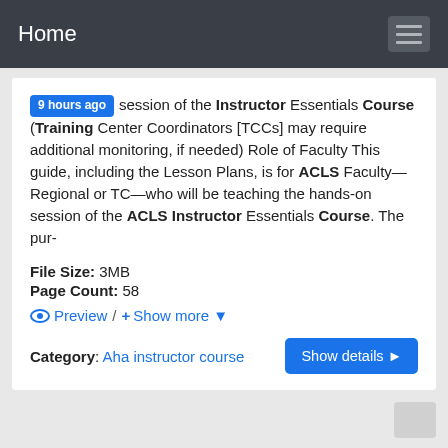Home
9 hours ago session of the Instructor Essentials Course (Training Center Coordinators [TCCs] may require additional monitoring, if needed) Role of Faculty This guide, including the Lesson Plans, is for ACLS Faculty—Regional or TC—who will be teaching the hands-on session of the ACLS Instructor Essentials Course. The pur-
File Size: 3MB
Page Count: 58
Preview / + Show more ▼
Category: Aha instructor course
Show details ▶